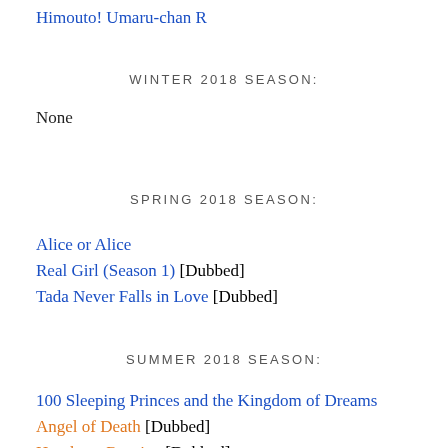Himouto! Umaru-chan R
WINTER 2018 SEASON:
None
SPRING 2018 SEASON:
Alice or Alice
Real Girl (Season 1) [Dubbed]
Tada Never Falls in Love [Dubbed]
SUMMER 2018 SEASON:
100 Sleeping Princes and the Kingdom of Dreams
Angel of Death [Dubbed]
Harukana Receive [Dubbed]